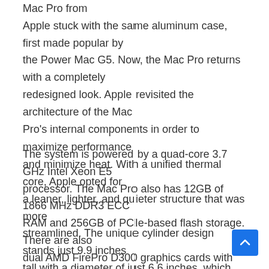Mac Pro from Apple stuck with the same aluminum case, first made popular by the Power Mac G5. Now, the Mac Pro returns with a completely redesigned look. Apple revisited the architecture of the Mac Pro's internal components in order to maximize performance and minimize heat. With a unified thermal core, Apple opted for a leaner, lighter, and quieter structure that was more streamlined. The unique cylinder design stands just 9.9 inches tall with a diameter of just 6.6 inches, which allows it to be a professional workstation that can actually sit on your desk.
The system is powered by a quad-core 3.7 GHz Intel Xeon E5 processor. The Mac Pro also has 12GB of 1866 MHz DDR3 ECC RAM and 256GB of PCIe-based flash storage. There are also dual AMD FirePro D300 graphics cards with 2GB of GDDR5 discrete VRAM each. You'll be able to connect to the Internet with fast-speed 802.11ac Wi-Fi. The Mac Pro also supports a/b/g/n Wi-Fi networks as well. The Mac Pro also features built